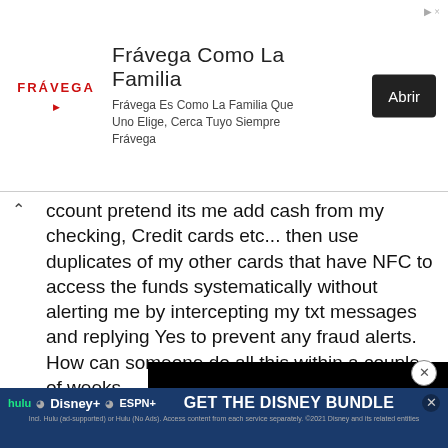[Figure (infographic): Frávega advertisement banner at the top. Logo on the left, headline 'Frávega Como La Familia', subtext 'Frávega Es Como La Familia Que Uno Elige, Cerca Tuyo Siempre Frávega', and a dark 'Abrir' button on the right.]
ccount pretend its me add cash from my checking, Credit cards etc... then use duplicates of my other cards that have NFC to access the funds systematically without alerting me by intercepting my txt messages and replying Yes to prevent any fraud alerts. How can someone do all this within a couple of weeks.

It seems when I applied for a personal loan to pay off some bills and stuff I starting receiving a serious amount of emails and txt messages soclicting loan after receiving some funding to systematically debited my account transactions and I had no clue Thursday night fri early early mo 2k in m pay policy t to. By
[Figure (screenshot): Black video player overlay partially covering the text content on the right side of the page.]
[Figure (infographic): Disney Bundle advertisement banner at the bottom: Hulu, Disney+, ESPN+ logos on the left, 'GET THE DISNEY BUNDLE' call to action in white on blue background, close button on the right.]